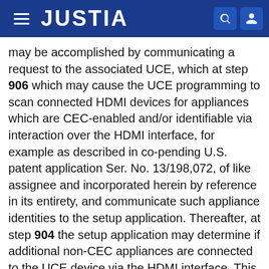JUSTIA
may be accomplished by communicating a request to the associated UCE, which at step 906 which may cause the UCE programming to scan connected HDMI devices for appliances which are CEC-enabled and/or identifiable via interaction over the HDMI interface, for example as described in co-pending U.S. patent application Ser. No. 13/198,072, of like assignee and incorporated herein by reference in its entirety, and communicate such appliance identities to the setup application. Thereafter, at step 904 the setup application may determine if additional non-CEC appliances are connected to the UCE device via the HDMI interface. This may be accomplished by requesting the UCE programming to scan for any further HDMI connections at step 910 and communicate the findings back to the setup application. Though not illustrated, it will be appreciated that where appropriate for a particular embodiment the UCE programming may